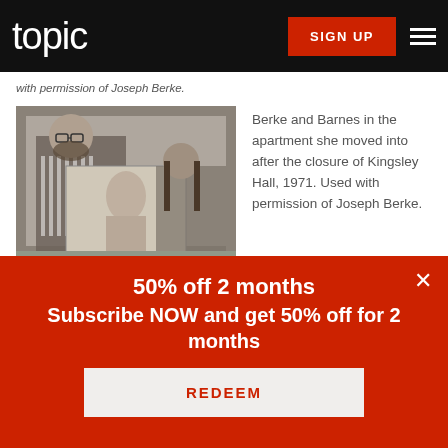topic | SIGN UP
with permission of Joseph Berke.
[Figure (photo): Black and white photograph of Berke and Barnes in an apartment, 1971, showing two people with large paintings/artwork]
Berke and Barnes in the apartment she moved into after the closure of Kingsley Hall, 1971. Used with permission of Joseph Berke.
50% off 2 months
Subscribe NOW and get 50% off for 2 months
REDEEM